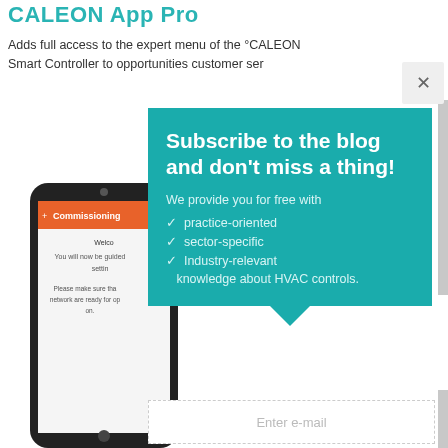CALEON App Pro
Adds full access to the expert menu of the °CALEON Smart Controller to opportunities customer ser
[Figure (screenshot): Smartphone showing CALEON commissioning app screen with orange header bar labeled 'Commissioning' and setup text instructions]
Subscribe to the blog and don't miss a thing!

We provide you for free with
✓ practice-oriented
✓ sector-specific
✓ Industry-relevant
knowledge about HVAC controls.
Enter e-mail